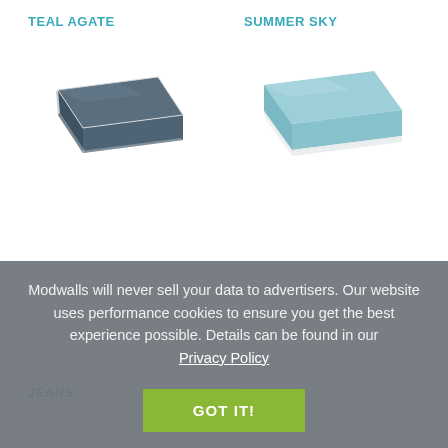TEAL AGATE
[Figure (photo): Dark blue-grey ceramic tile sample shown in 3D perspective view]
SUMMER SKY
[Figure (photo): Light sky blue ceramic tile sample shown in 3D perspective view]
JEANS
MARINE
Modwalls will never sell your data to advertisers. Our website uses performance cookies to ensure you get the best experience possible. Details can be found in our Privacy Policy
GOT IT!